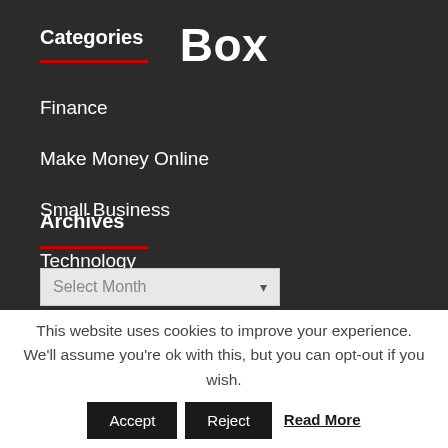Box
Categories
Finance
Make Money Online
Small Business
Technology
Archives
Select Month
This website uses cookies to improve your experience. We'll assume you're ok with this, but you can opt-out if you wish.
Accept
Reject
Read More